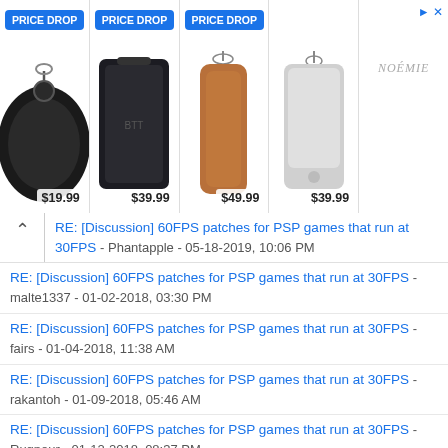[Figure (screenshot): Advertisement banner showing 4 products with PRICE DROP badges and prices: $19.99, $39.99, $49.99, $39.99, plus NOEMI brand logo]
RE: [Discussion] 60FPS patches for PSP games that run at 30FPS - Phantapple - 05-18-2019, 10:06 PM
RE: [Discussion] 60FPS patches for PSP games that run at 30FPS - malte1337 - 01-02-2018, 03:30 PM
RE: [Discussion] 60FPS patches for PSP games that run at 30FPS - fairs - 01-04-2018, 11:38 AM
RE: [Discussion] 60FPS patches for PSP games that run at 30FPS - rakantoh - 01-09-2018, 05:46 AM
RE: [Discussion] 60FPS patches for PSP games that run at 30FPS - Rugnour - 01-12-2018, 08:37 PM
RE: [Discussion] 60FPS patches for PSP games that run at 30FPS - Marcelo_20XX - 01-28-2018, 08:18 PM
RE: [Discussion] 60FPS patches for PSP games that run at 30FPS - ZeroX4 - 02-05-2018, 11:09 AM
RE: [Discussion] 60FPS patches for PSP games that run at 30FPS - ly202986246 - 02-06-2018, 01:35 PM
RE: [Discussion] 60FPS patches for PSP games that run at 30FPS - Verymelon Benda - 03-10-2018, 02:20 PM
RE: [Discussion] 60FPS patches for PSP games that run at 30FPS - Bluesilver238 - 04-06-2018, 11:22 AM